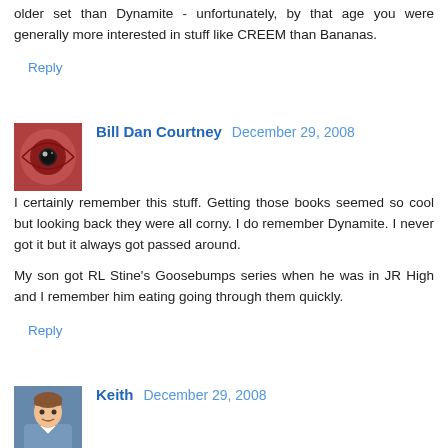older set than Dynamite - unfortunately, by that age you were generally more interested in stuff like CREEM than Bananas.
Reply
Bill Dan Courtney  December 29, 2008
I certainly remember this stuff. Getting those books seemed so cool but looking back they were all corny. I do remember Dynamite. I never got it but it always got passed around.

My son got RL Stine's Goosebumps series when he was in JR High and I remember him eating going through them quickly.
Reply
Keith  December 29, 2008
Hey Gil. Such a cool post. Yeah, I can remember the days of the Book Club. I've always been somebody who loved to